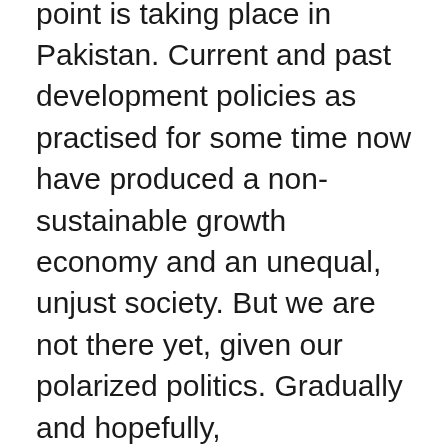Perhaps a similar inflexion point is taking place in Pakistan. Current and past development policies as practised for some time now have produced a non-sustainable growth economy and an unequal, unjust society. But we are not there yet, given our polarized politics. Gradually and hopefully,